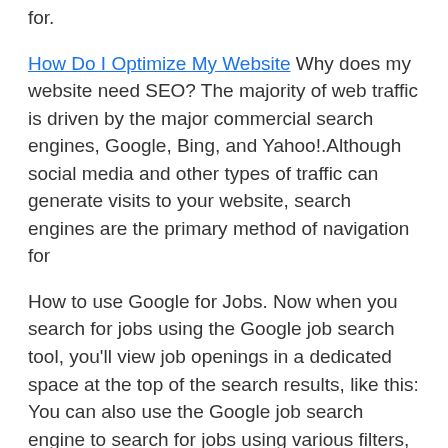for.
How Do I Optimize My Website Why does my website need SEO? The majority of web traffic is driven by the major commercial search engines, Google, Bing, and Yahoo!.Although social media and other types of traffic can generate visits to your website, search engines are the primary method of navigation for
How to use Google for Jobs. Now when you search for jobs using the Google job search tool, you'll view job openings in a dedicated space at the top of the search results, like this: You can also use the Google job search engine to search for jobs using various filters, such …
I love how Bill Slawski simplifies the idea of nodes and edges, so I'll just post a … about the search engine more than the …